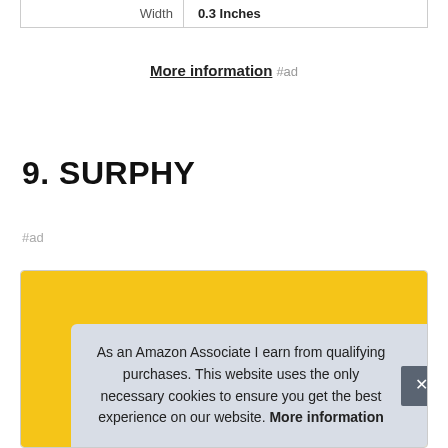| Width | 0.3 Inches |
More information #ad
9. SURPHY
#ad
[Figure (photo): Product image with yellow background, partially visible]
As an Amazon Associate I earn from qualifying purchases. This website uses the only necessary cookies to ensure you get the best experience on our website. More information